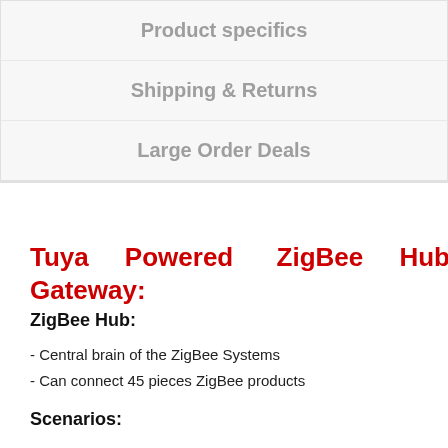Product specifics
Shipping & Returns
Large Order Deals
Tuya Powered ZigBee Hub Gateway:
ZigBee Hub:
- Central brain of the ZigBee Systems
- Can connect 45 pieces ZigBee products
Scenarios: